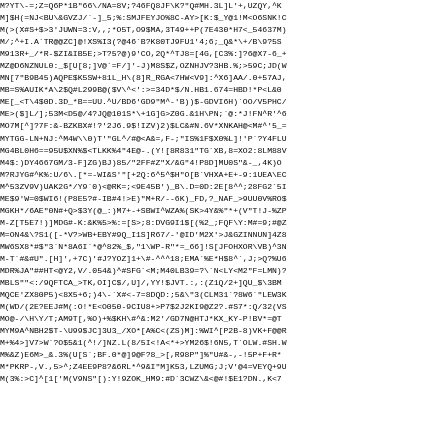M?YT\-=;Z=Q6P*1B"66\/NA=8V;?46FQ8JF\K?"Q#MH.3L]L'+,UZQY,^K
M]$H(=NJ<BU\&GVZJ/`-]_5;%:SMJFEYJO%8C-AY>[K:$_Y@1!M<O6SNK!C
M(>(X#S+$>3'JUWN=3:V,,;*O5T,O9$MA,3T49++P(7E430*H7<_54637M)
M/;^+I.A`TR@@ZC]@!XS%I3(?@46`B?K80TJ9FU1'4;6;_Q&*\+/B\9?5S
M913R+_/*R-$ZI&IB5E;>T?5?@)9'CO,2Q*^TJ8=[4G,[C3%:]?6@X7-6_+
MZ@D6NZNUL0:_$[U[8;]V@`=F/]'-J)M8S$Z,OZNHJV?3HB.%;>59C;JD(W
MN[7"B9B45)AQPE$K5SW+81L_H\(8]R_RGA<7HW<V9]:^X6]AA/.0+57AJ,
MB=S%AUIK*A\2$Q#L299B@($V\^<':>=34D*$/N.HB1.674=HBD!*P<L&0
ME[_<T\4$0D.3D_*B==UU.^U/BD6'GD9"M^-'B))$-GDVI6H)`OO/V5PHC/
ME>($]L/];53M<D5@/4?JQ@101S*\+1G]G>Z0G.&1H\PN;`@:*J!FN^R'^6
MO7M[^]?7F:&-BZKBX#!?'2J6.9$!IZV)2)$LC&#N.6V*XNKAH@<M#^'5_=
MYTGG-LN+NJ:^M4W\\0)T'"GL^/#@<A&=,F-;"IS%1F$X0%L]!'P`?Y4FLU
MG4BL0H6==95U$XN%$<TLKK%4"4E@-.(Y![8R831"TG`XB,8=XO2:8LM88V
M4$:)DY4667GM/3-F]ZG)BJ)85/"2FF#Z"X/&G"4!P8D]MU0S"&-_,4K)O
M?RJYG#^K%:U/6\.[*=-WI&S'"[+2Q:6^5^$H"O[B`VHXA+E+-9:1UEA\EC
M^53ZV9V)UAK2G*/Y9`0)<@RK=;<9E45B')_B\.D=0D:2E[8^^;28FG2`5I
ME$9'W=0$WI6!(P8E5?#-IB#4!>E)"M+R/--6K)_FD,?_NAF_>9UU0V%RO$
MGKH*/6AE"0N#+Q>$3Y(@_:)M7+-+SBWI^WZA%(SK>4Y&%"*+(V"T!J-%ZP
M-Z[T5E7!)]MDG#-K:&K%5>%:=[S>;8:DVG9I1$[(%2_;FQF\Y:M#=9;#@Z
M=ON4&\?S1([-*V?>WB+EBY#9Q_I1S]R67/-'@ID'M2X'>J&GZINNUN]4Z8
MW6SX8*#$"3`N*8A6I`*@^82%_$,"1\WP-R"*=_66]!S[JFOHXOR\VB)^3N
M-T`#&#U".[H]',+7C)'#J?YOZ]1+\#-^^^18;EMA`%E*H$8^`,J;>Q?%U6
MDR%JA"##HT<@Y2,V/.054&)^#SFG`<M;M40LB39=?\`N<LY<M2"F=LMN)?
MBLS"".<:/9QFTCA_>TK,OI]C$/,U]/,YY!$JVT.:,:(Z1Q/2+]QU_$\3BM
MQCE'ZX80P5)<8X5+6;)4\-`X#<-7=8DQD:;5&\"3(CLM31`?8W6`"LEW3K
M(WD/(2E?EEJ#M(:O!*E<O050-9CIU8+>P7$2J2KI9@Z2?.#S7*:Q/32(VS
MO@-/\H\Y/T;AM9T[,%O)+%$KH\#^&:M2'/GD7N@HTJ*KX_KY-P!BV*=@T
MYM9A^NBH2$T-\U99$JC]3U3_/XO*[A%C<(ZS)M]:%WI^[P2B-8)VK+F@@R
M+%4>]V7>W`?O$5&1(^!/]NZ.L(8/5I<!A<*+>YM26$!6N5,T`OLW.#SH.W
M%&Z)E6M>_&.3%(U[S`;BF.0*@]9@F?8_>[,R98P"]%"U#&-,-!5P+F+R*
M*PKRP-,V.,5>^;Z4EE9P8?&6RL*^9&I"M]K53,LZUMG;J;V'@4=VEYQ+9U
M(3%:>C]^[1['M(V9NS"[):Y!9ZOK_HM9:#D`3CWZ\&<@#!$E1?DN.,K<7